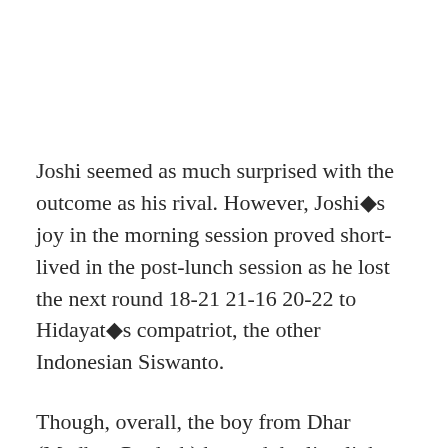Joshi seemed as much surprised with the outcome as his rival. However, Joshi▦s joy in the morning session proved short-lived in the post-lunch session as he lost the next round 18-21 21-16 20-22 to Hidayat▦s compatriot, the other Indonesian Siswanto.
Though, overall, the boy from Dhar (Madhya Pradesh) hogged the limelight on the opening day with his giant-killing efforts and gutsy display before crashing out.
▦He (Taufiq) is my idol. I was completely blank during the match. However, I have been studying his videos on